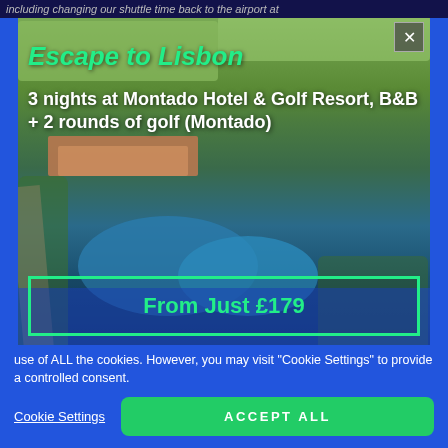including changing our shuttle time back to the airport at
[Figure (photo): Aerial view of Montado Hotel & Golf Resort in Lisbon area, showing golf course, pond/lake, hotel buildings, and surrounding green landscape]
Escape to Lisbon
3 nights at Montado Hotel & Golf Resort, B&B + 2 rounds of golf (Montado)
From Just £179
use of ALL the cookies. However, you may visit "Cookie Settings" to provide a controlled consent.
Cookie Settings
ACCEPT ALL